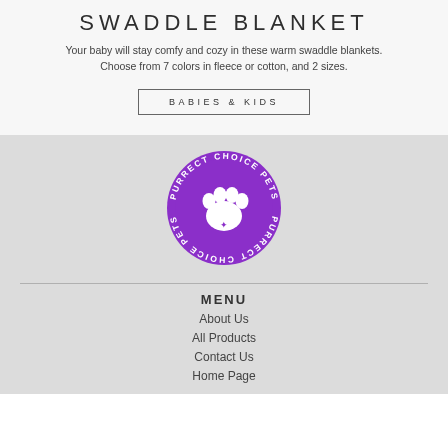SWADDLE BLANKET
Your baby will stay comfy and cozy in these warm swaddle blankets. Choose from 7 colors in fleece or cotton, and 2 sizes.
BABIES & KIDS
[Figure (logo): Purrect Choice Pets Plus circular logo with purple paw print in center and text around the circle]
MENU
About Us
All Products
Contact Us
Home Page